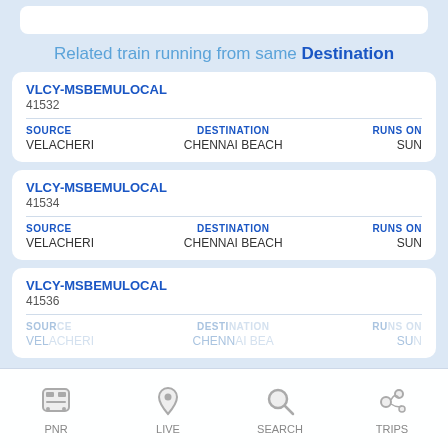Related train running from same Destination
VLCY-MSBEMULOCAL
41532
SOURCE: VELACHERI | DESTINATION: CHENNAI BEACH | RUNS ON: SUN
VLCY-MSBEMULOCAL
41534
SOURCE: VELACHERI | DESTINATION: CHENNAI BEACH | RUNS ON: SUN
VLCY-MSBEMULOCAL
41536
SOURCE: VELACHERI | DESTINATION: CHENNAI BEACH
PNR | LIVE | SEARCH | TRIPS